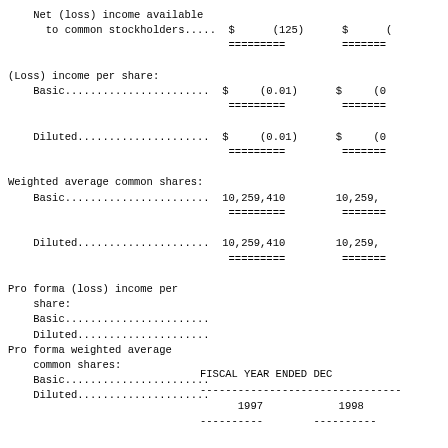| Description | Col1 | Col2 |
| --- | --- | --- |
| Net (loss) income available to common stockholders..... | $ (125) | $ ( |
|  | ========= | ======= |
| (Loss) income per share: |  |  |
|   Basic....................... | $ (0.01) | $ (0 |
|  | ========= | ======= |
|   Diluted..................... | $ (0.01) | $ (0 |
|  | ========= | ======= |
| Weighted average common shares: |  |  |
|   Basic....................... | 10,259,410 | 10,259, |
|  | ========= | ======= |
|   Diluted..................... | 10,259,410 | 10,259, |
|  | ========= | ======= |
| Pro forma (loss) income per share: |  |  |
|   Basic....................... |  |  |
|   Diluted..................... |  |  |
| Pro forma weighted average common shares: |  |  |
|   Basic....................... |  |  |
|   Diluted..................... |  |  |
| FISCAL YEAR ENDED DEC | 1997 | 1998 |
| --- | --- | --- |